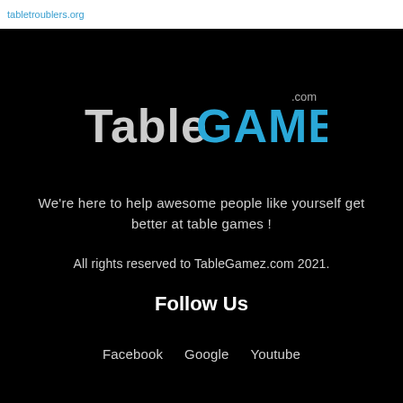tabletroublers.org
[Figure (logo): TableGAMEZ.com logo with 'Table' in grey/white and 'GAMEZ' in blue, '.com' in small grey text above]
We're here to help awesome people like yourself get better at table games !
All rights reserved to TableGamez.com 2021.
Follow Us
Facebook   Google   Youtube